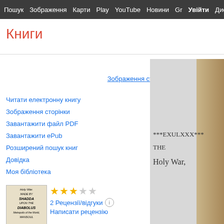Пошук  Зображення  Карти  Play  YouTube  Новини  Gmail  Диск  Б
Книги
Зображення сторінки  ⬇ PDF  ⬇ ePub
Читати електронну книгу
Зображення сторінки
Завантажити файл PDF
Завантажити ePub
Розширений пошук книг
Довідка
Моя бібліотека
2 Рецензії/відгуки   Написати рецензію
[Figure (photo): Book cover thumbnail of The Holy War]
The Holy War: Made by Shaddai Upon Diabolus; for the Regaining of the ...
[Figure (photo): Scanned book page showing ***EXULXXX*** THE Holy War,]